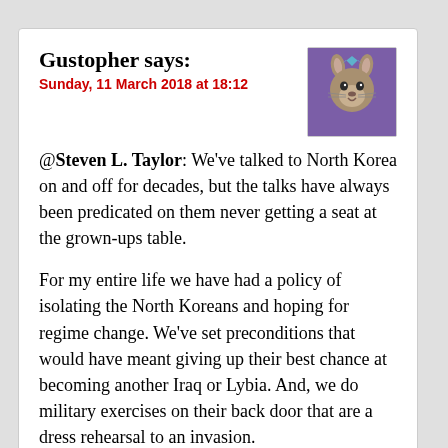Gustopher says:
Sunday, 11 March 2018 at 18:12
[Figure (illustration): Avatar image of a cartoon kangaroo with a blue crown on a purple background]
@Steven L. Taylor: We've talked to North Korea on and off for decades, but the talks have always been predicated on them never getting a seat at the grown-ups table.
For my entire life we have had a policy of isolating the North Koreans and hoping for regime change. We've set preconditions that would have meant giving up their best chance at becoming another Iraq or Lybia. And, we do military exercises on their back door that are a dress rehearsal to an invasion.
Yes, the North Korean people would be better off as South Koreans. Yes, dictatorships can be brutal. But we can't save the entire world, and war and famine are more brutal. And we are currently on a path to war and more famine.